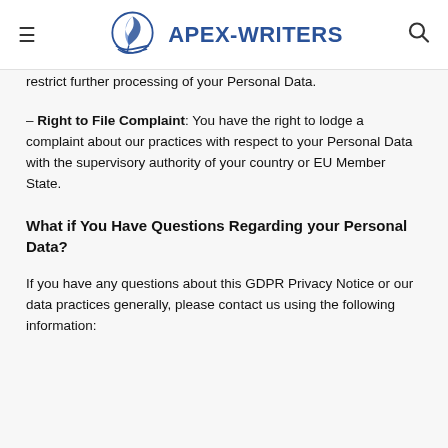APEX-WRITERS
restrict further processing of your Personal Data.
– Right to File Complaint: You have the right to lodge a complaint about our practices with respect to your Personal Data with the supervisory authority of your country or EU Member State.
What if You Have Questions Regarding your Personal Data?
If you have any questions about this GDPR Privacy Notice or our data practices generally, please contact us using the following information: